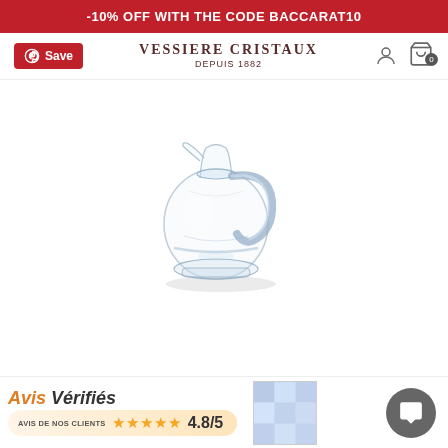-10% OFF WITH THE CODE BACCARAT10
[Figure (logo): Vessiere Cristaux - Depuis 1882 logo with Pinterest Save button and navigation icons]
[Figure (photo): Clear crystal glass pitcher/jug with round body, short neck, spout, and looped handle on white background]
[Figure (other): Avis Verifies badge with AVIS DE NOS CLIENTS 4.8/5 star rating and thumbnail image of product]
Avis Vérifiés
AVIS DE NOS CLIENTS 4.8/5